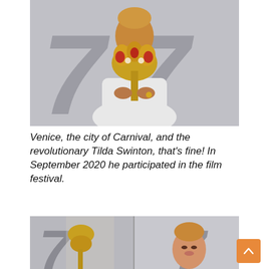[Figure (photo): A person (Tilda Swinton) in a white outfit holding a large golden floral sculpture/mask in front of their face, with a large '77' numeral visible in the background at what appears to be the Venice Film Festival.]
Venice, the city of Carnival, and the revolutionary Tilda Swinton, that's fine! In September 2020 he participated in the film festival.
[Figure (photo): A partial view showing two photos side by side of Tilda Swinton at the Venice Film Festival, with '77' numerals visible in the background. One shows a person holding a golden floral mask, the other shows Tilda Swinton's face visible with her distinctive hairstyle.]